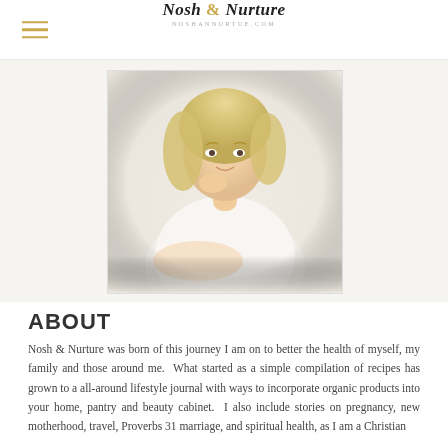Nosh & Nurture — noshannurturde.com
[Figure (photo): Portrait photo of a blonde woman in a white off-shoulder top, sitting and resting her chin on her hand, photographed on a white background]
ABOUT
Nosh & Nurture was born of this journey I am on to better the health of myself, my family and those around me. What started as a simple compilation of recipes has grown to a all-around lifestyle journal with ways to incorporate organic products into your home, pantry and beauty cabinet. I also include stories on pregnancy, new motherhood, travel, Proverbs 31 marriage, and spiritual health, as I am a Christian